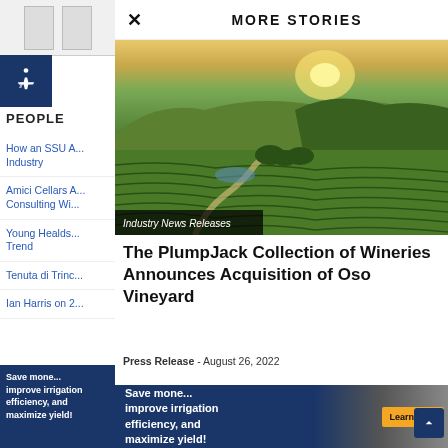[Figure (screenshot): Product images in sidebar top area]
[Figure (logo): Accessibility icon - wheelchair symbol on dark blue background]
PEOPLE
How an SSU A... Industry
Amici Cellars A... Consulting Wi...
Young Healds... Trend
Tenuta di Trinc...
Ian Harris on 2...
MORE STORIES
[Figure (photo): Aerial photograph of PlumpJack vineyard with rolling green hills, rows of grapevines, winding paths, and mountains in the background under a warm sunset sky]
Industry News Releases
The PlumpJack Collection of Wineries Announces Acquisition of Oso Vineyard
Press Release - August 26, 2022
[Figure (photo): Bottom advertisement banner: Save money, improve irrigation efficiency, and maximize yield! Learn More button with irrigation equipment photos]